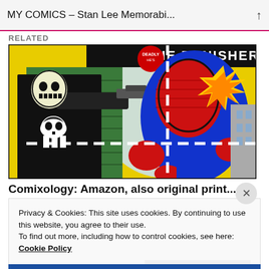MY COMICS – Stan Lee Memorabi...
RELATED
[Figure (illustration): Comic book cover illustration showing the Punisher (white skull costume, black outfit) aiming a gun with a muzzle flash, and Spider-Man (red and blue costume) in the foreground. Dashed white lines cross the image. Background shows yellow and green brick wall with explosion effects. Text at top reads 'DEADLY HE'S' and 'THE PUNISHER'.]
Comixology: Amazon, also original print...
Privacy & Cookies: This site uses cookies. By continuing to use this website, you agree to their use.
To find out more, including how to control cookies, see here:
Cookie Policy
Close and accept